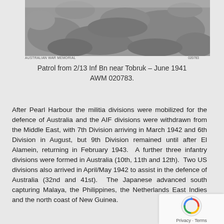[Figure (photo): Black and white photograph of soldiers on a rocky patrol near Tobruk, 1941]
Patrol from 2/13 Inf Bn near Tobruk – June 1941 AWM 020783.
After Pearl Harbour the militia divisions were mobilized for the defence of Australia and the AIF divisions were withdrawn from the Middle East, with 7th Division arriving in March 1942 and 6th Division in August, but 9th Division remained until after El Alamein, returning in February 1943.  A further three infantry divisions were formed in Australia (10th, 11th and 12th).  Two US divisions also arrived in April/May 1942 to assist in the defence of Australia (32nd and 41st).  The Japanese advanced south capturing Malaya, the Philippines, the Netherlands East Indies and the north coast of New Guinea.